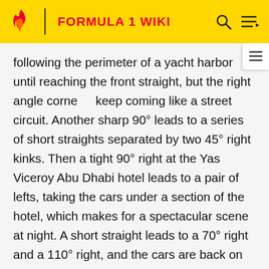FORMULA 1 WIKI
following the perimeter of a yacht harbor until reaching the front straight, but the right angle corners keep coming like a street circuit. Another sharp 90° left leads to a series of short straights separated by two 45° right kinks. Then a tight 90° right at the Yas Viceroy Abu Dhabi hotel leads to a pair of lefts, taking the cars under a section of the hotel, which makes for a spectacular scene at night. A short straight leads to a 70° right and a 110° right, and the cars are back on the front straight.
The Formula One configuration has never changed since the track was opened, but there are a number of alternate track sections, and these are often being added to, including loops for motorcycles to break up